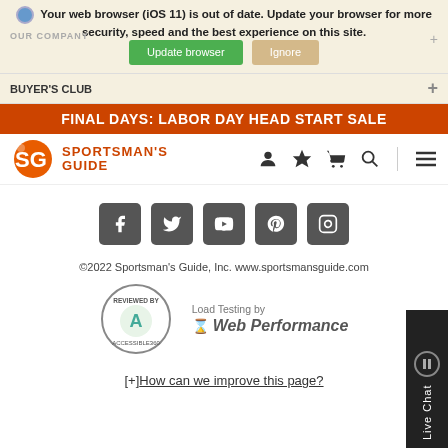Your web browser (iOS 11) is out of date. Update your browser for more security, speed and the best experience on this site.
Update browser   Ignore
OUR COMPANY
BUYER'S CLUB
FINAL DAYS: LABOR DAY HEAD START SALE
[Figure (logo): Sportsman's Guide logo with SG letters and deer icon, orange color]
[Figure (infographic): Navigation icons: user, star, cart, search, hamburger menu]
[Figure (infographic): Social media icons: Facebook, Twitter, YouTube, Pinterest, Instagram]
©2022 Sportsman's Guide, Inc. www.sportsmansguide.com
[Figure (logo): Reviewed by Accessible360 circular badge]
Load Testing by Web Performance
[+] How can we improve this page?